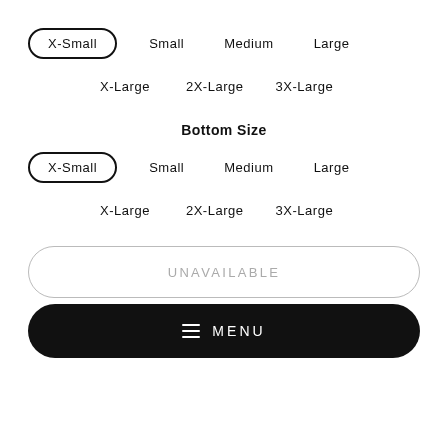[Figure (infographic): Size selector UI showing top size options: X-Small (selected, pill border), Small, Medium, Large on first row; X-Large, 2X-Large, 3X-Large on second row. Then Bottom Size label. Bottom size options: X-Small (selected, pill border), Small, Medium, Large on first row; X-Large, 2X-Large, 3X-Large on second row. An UNAVAILABLE button with rounded border, and a black MENU button with hamburger icon.]